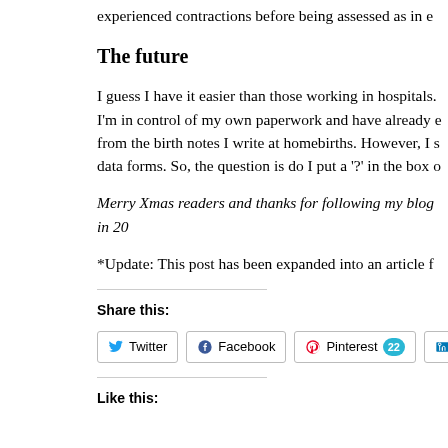experienced contractions before being assessed as in e
The future
I guess I have it easier than those working in hospitals. I'm in control of my own paperwork and have already e from the birth notes I write at homebirths. However, I s data forms. So, the question is do I put a '?' in the box o
Merry Xmas readers and thanks for following my blog in 20
*Update: This post has been expanded into an article f
Share this:
Twitter | Facebook | Pinterest 22 | LinkedIn | Em
Like this: